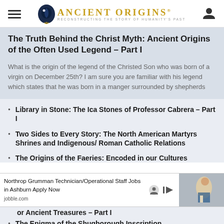Ancient Origins — Reconstructing the Story of Humanity's Past
The Truth Behind the Christ Myth: Ancient Origins of the Often Used Legend – Part I
What is the origin of the legend of the Christed Son who was born of a virgin on December 25th? I am sure you are familiar with his legend which states that he was born in a manger surrounded by shepherds
Library in Stone: The Ica Stones of Professor Cabrera – Part I
Two Sides to Every Story: The North American Martyrs Shrines and Indigenous/ Roman Catholic Relations
The Origins of the Faeries: Encoded in our Cultures
or Ancient Treasures – Part I
The Enigma of the Shugborough Inscription